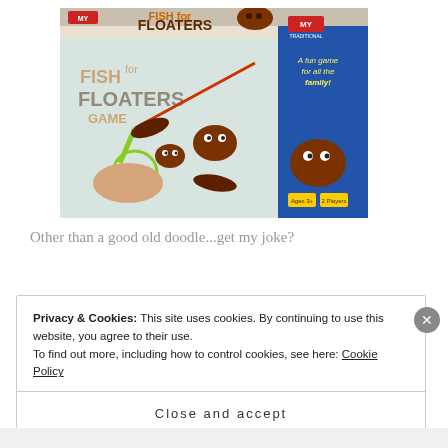[Figure (photo): Product box for 'Fish for Floaters Game' by MY Traditional Games. The box shows a bathtub fishing game with poop emoji shaped bath toys and a toy fishing rod with net. Text on box reads: FISH for FLOATERS GAME, MY TRADITIONAL GAMES, A fun game for all the family!, Ages 3+, 2 Players.]
Other than a good old doodle...get my joke?
Privacy & Cookies: This site uses cookies. By continuing to use this website, you agree to their use.
To find out more, including how to control cookies, see here: Cookie Policy
Close and accept